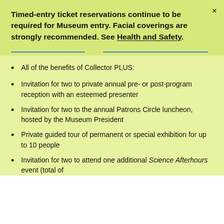Timed-entry ticket reservations continue to be required for Museum entry. Facial coverings are strongly recommended. See Health and Safety.
All of the benefits of Collector PLUS:
Invitation for two to private annual pre- or post-program reception with an esteemed presenter
Invitation for two to the annual Patrons Circle luncheon, hosted by the Museum President
Private guided tour of permanent or special exhibition for up to 10 people
Invitation for two to attend one additional Science Afterhours event (total of